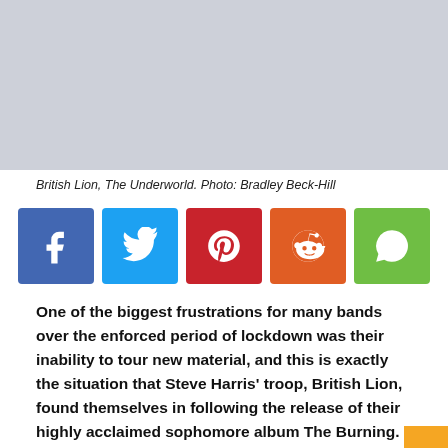[Figure (photo): Gray placeholder image representing a photo of British Lion at The Underworld]
British Lion, The Underworld. Photo: Bradley Beck-Hill
[Figure (infographic): Social media sharing buttons: Facebook, Twitter, Pinterest, Reddit, WhatsApp]
One of the biggest frustrations for many bands over the enforced period of lockdown was their inability to tour new material, and this is exactly the situation that Steve Harris' troop, British Lion, found themselves in following the release of their highly acclaimed sophomore album The Burning.
British Lion / Airforce. The Underworld, Camden.